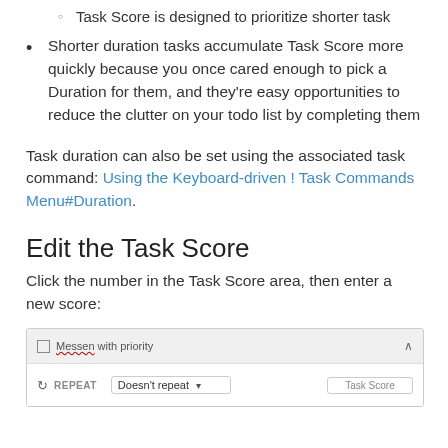Task Score is designed to prioritize shorter task
Shorter duration tasks accumulate Task Score more quickly because you once cared enough to pick a Duration for them, and they're easy opportunities to reduce the clutter on your todo list by completing them
Task duration can also be set using the associated task command: Using the Keyboard-driven ! Task Commands Menu#Duration.
Edit the Task Score
Click the number in the Task Score area, then enter a new score:
[Figure (screenshot): Screenshot of a task interface showing a checkbox row labeled 'Messen with priority' with a caret, and a row with a repeat icon, 'REPEAT' label, 'Doesn't repeat' dropdown, and a 'Task Score' input box.]